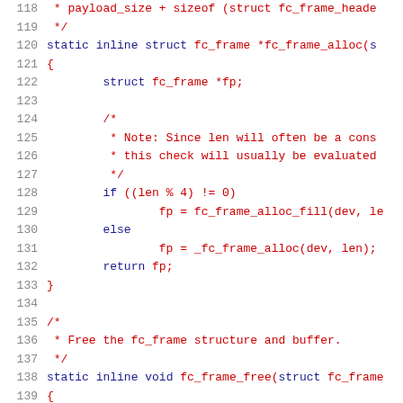Source code listing, lines 118-139, showing fc_frame_alloc and fc_frame_free functions in C
[Figure (screenshot): C source code snippet showing lines 118-139 with syntax highlighting. Lines include a comment about payload_size + sizeof(struct fc_frame_header), the fc_frame_alloc static inline function, local variable fp declaration, a comment about len being a constant, an if/else checking (len % 4) != 0 calling fc_frame_alloc_fill or _fc_frame_alloc, return fp, closing brace, then a comment about freeing fc_frame structure and buffer, and start of fc_frame_free static inline void function.]